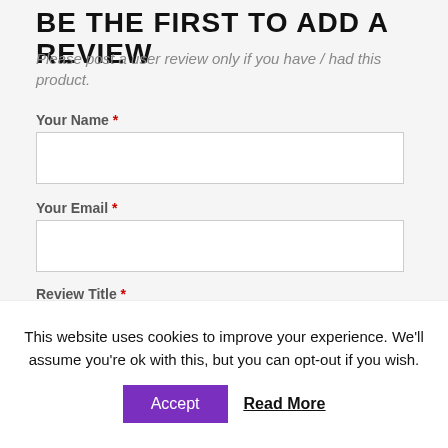BE THE FIRST TO ADD A REVIEW
Please post a user review only if you have / had this product.
Your Name *
Your Email *
Review Title *
Review Text *
This website uses cookies to improve your experience. We'll assume you're ok with this, but you can opt-out if you wish.